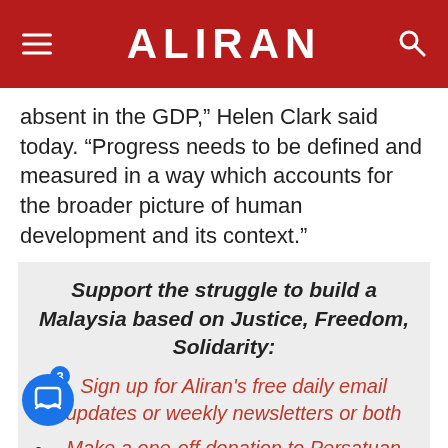ALIRAN
absent in the GDP,” Helen Clark said today. “Progress needs to be defined and measured in a way which accounts for the broader picture of human development and its context.”
Support the struggle to build a Malaysia based on Justice, Freedom, Solidarity:
Sign up for Aliran's free daily email updates or weekly newsletters or both
Make a one-off donation to Persatuan Aliran Kesedaran Negara, CIMB a/c 8004240948
Schedule an auto donation to Aliran every month or every quarter